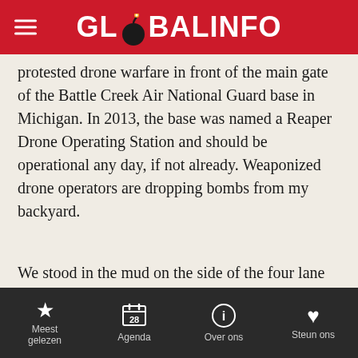GLOBALINFO
protested drone warfare in front of the main gate of the Battle Creek Air National Guard base in Michigan. In 2013, the base was named a Reaper Drone Operating Station and should be operational any day, if not already. Weaponized drone operators are dropping bombs from my backyard.
We stood in the mud on the side of the four lane highway from Noon to 1pm. A few of us held signs with slogans like “Stop Drone Warfare” while others offered conversation to each other or waved at honking cars. One father and fellow protester brought fresh-popped popcorn, which he passed out in little blue bowls to the
Meest gelezen | Agenda | Over ons | Steun ons